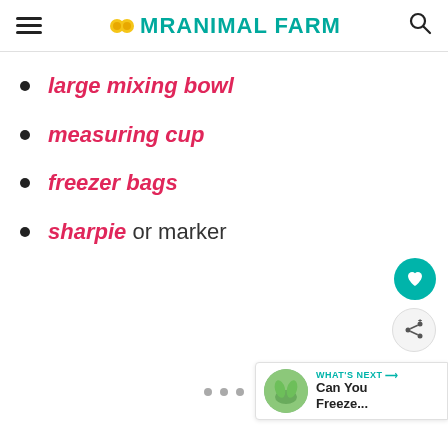MRANIMAL FARM
large mixing bowl
measuring cup
freezer bags
sharpie or marker